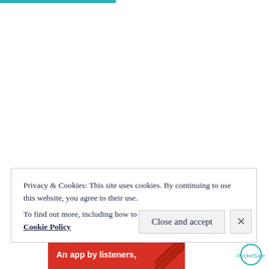Privacy & Cookies: This site uses cookies. By continuing to use this website, you agree to their use.
To find out more, including how to control cookies, see here: Cookie Policy
[Figure (screenshot): Close and accept button and X button for cookie notice]
[Figure (screenshot): Red banner at bottom with text 'An app by listeners.' and logo elements]